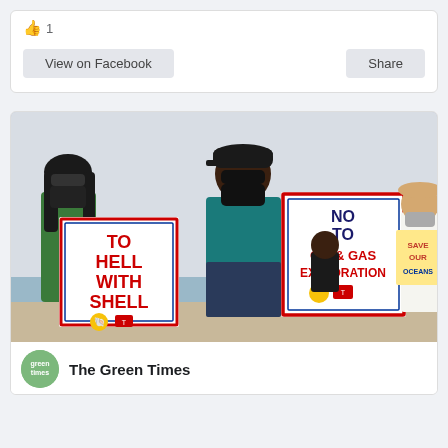👍 1
View on Facebook
Share
[Figure (photo): Protest photo showing people on a beach holding signs reading 'TO HELL WITH SHELL' and 'NO TO OIL & GAS EXPLORATION' with Shell and Total logos, and a third sign partially visible saying 'SAVE OUR OCEANS']
The Green Times